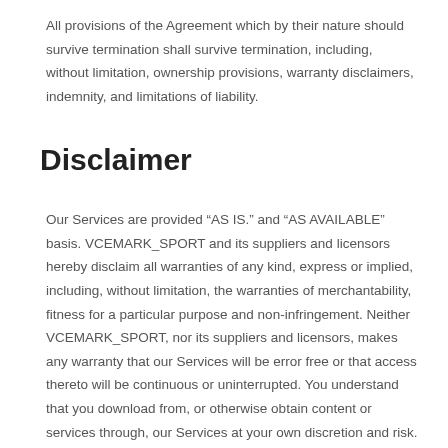All provisions of the Agreement which by their nature should survive termination shall survive termination, including, without limitation, ownership provisions, warranty disclaimers, indemnity, and limitations of liability.
Disclaimer
Our Services are provided “AS IS.” and “AS AVAILABLE” basis. VCEMARK_SPORT and its suppliers and licensors hereby disclaim all warranties of any kind, express or implied, including, without limitation, the warranties of merchantability, fitness for a particular purpose and non-infringement. Neither VCEMARK_SPORT, nor its suppliers and licensors, makes any warranty that our Services will be error free or that access thereto will be continuous or uninterrupted. You understand that you download from, or otherwise obtain content or services through, our Services at your own discretion and risk.